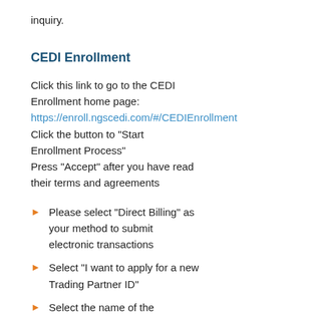inquiry.
CEDI Enrollment
Click this link to go to the CEDI Enrollment home page:
https://enroll.ngscedi.com/#/CEDIEnrollment
Click the button to "Start Enrollment Process"
Press "Accept" after you have read their terms and agreements
Please select "Direct Billing" as your method to submit electronic transactions
Select "I want to apply for a new Trading Partner ID"
Select the name of the...